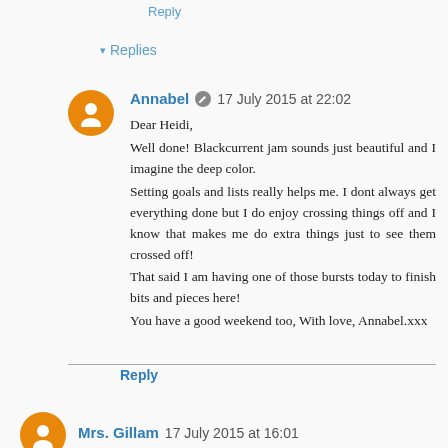Reply
▾ Replies
Annabel 🖉 17 July 2015 at 22:02
Dear Heidi,
Well done! Blackcurrent jam sounds just beautiful and I imagine the deep color.
Setting goals and lists really helps me. I dont always get everything done but I do enjoy crossing things off and I know that makes me do extra things just to see them crossed off!
That said I am having one of those bursts today to finish bits and pieces here!
You have a good weekend too, With love, Annabel.xxx
Reply
Mrs. Gillam  17 July 2015 at 16:01